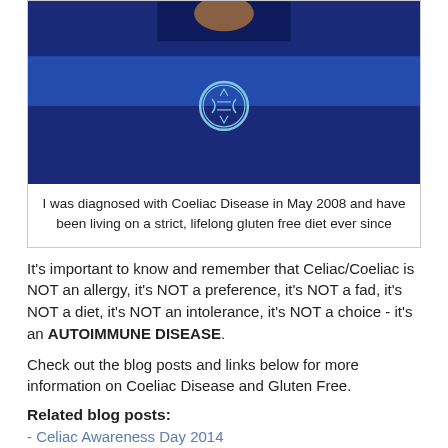[Figure (photo): Person wearing a blue sweatshirt/jumper with a circular gluten-free symbol on the chest]
I was diagnosed with Coeliac Disease in May 2008 and have been living on a strict, lifelong gluten free diet ever since
It's important to know and remember that Celiac/Coeliac is NOT an allergy, it's NOT a preference, it's NOT a fad, it's NOT a diet, it's NOT an intolerance, it's NOT a choice - it's an AUTOIMMUNE DISEASE.
Check out the blog posts and links below for more information on Coeliac Disease and Gluten Free.
Related blog posts:
- Celiac Awareness Day 2014
- Coeliac UK Awareness Week 2014 and the Gluten-free guarantee
- Minigolfing gluten free in Margate
- What a Day, Week and Month! (2013)